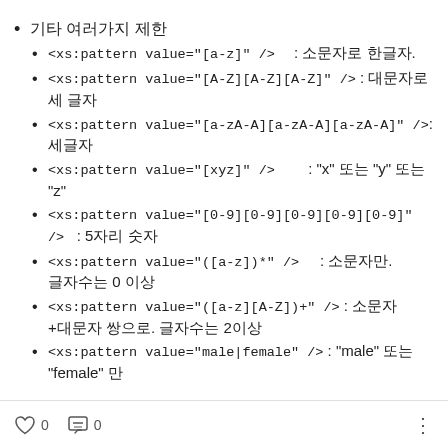기타 여러가지 제한
<xs:pattern value="[a-z]" />   : 소문자로 한글자.
<xs:pattern value="[A-Z][A-Z][A-Z]" /> : 대문자로 세 글자
<xs:pattern value="[a-zA-A][a-zA-A][a-zA-A]" />: 세글자
<xs:pattern value="[xyz]" />          : "x" 또는 "y" 또는 "z"
<xs:pattern value="[0-9][0-9][0-9][0-9][0-9]" />       : 5자리 숫자
<xs:pattern value="([a-z])*" />       : 소문자만. 글자수는 0 이상
<xs:pattern value="([a-z][A-Z])+" /> : 소문자+대문자 쌍으로. 글자수는 2이상
<xs:pattern value="male|female" /> : "male" 또는 "female" 만
0   0